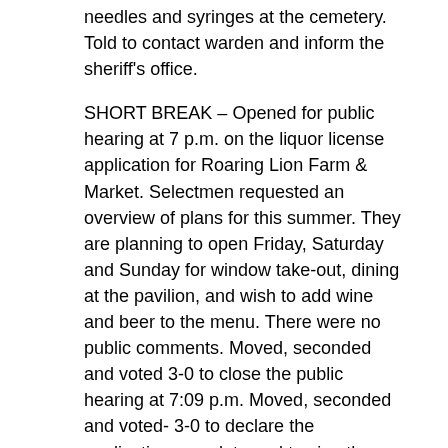needles and syringes at the cemetery. Told to contact warden and inform the sheriff's office.
SHORT BREAK – Opened for public hearing at 7 p.m. on the liquor license application for Roaring Lion Farm & Market. Selectmen requested an overview of plans for this summer. They are planning to open Friday, Saturday and Sunday for window take-out, dining at the pavilion, and wish to add wine and beer to the menu. There were no public comments. Moved, seconded and voted 3-0 to close the public hearing at 7:09 p.m. Moved, seconded and voted- 3-0 to declare the application complete and to sign the application.
ADJOURN: There being no further business, moved, seconded and voted 3-0 to adjourn the meeting at 7:16 p.m.
Respectfully submitted,
Barbara Grindle, Assistant